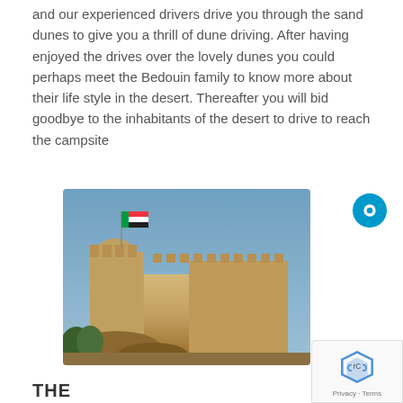and our experienced drivers drive you through the sand dunes to give you a thrill of dune driving. After having enjoyed the drives over the lovely dunes you could perhaps meet the Bedouin family to know more about their life style in the desert. Thereafter you will bid goodbye to the inhabitants of the desert to drive to reach the campsite
[Figure (photo): Photograph of a historic desert fort/castle with sandy stone walls, battlements, cylindrical towers, and a flag flying from the top. Clear blue sky in the background and some vegetation at the base.]
THE